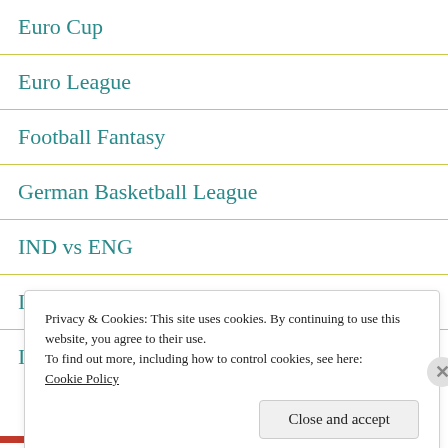Euro Cup
Euro League
Football Fantasy
German Basketball League
IND vs ENG
Indian Super League
IPL
Privacy & Cookies: This site uses cookies. By continuing to use this website, you agree to their use.
To find out more, including how to control cookies, see here:
Cookie Policy
Close and accept
ABCDEF-THE.AG